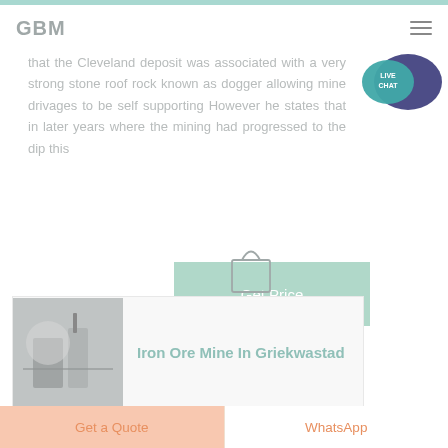GBM
[Figure (illustration): Live Chat speech bubble icon with teal and dark blue colors, text LIVE CHAT]
that the Cleveland deposit was associated with a very strong stone roof rock known as dogger allowing mine drivages to be self supporting However he states that in later years where the mining had progressed to the dip this
[Figure (illustration): Shopping bag icon (circular handle, teal/gray color)]
[Figure (illustration): Get Price button - teal green rectangular button with text Get Price]
[Figure (photo): Industrial or mining site photo, grayscale]
Iron Ore Mine In Griekwastad
Get a Quote | WhatsApp